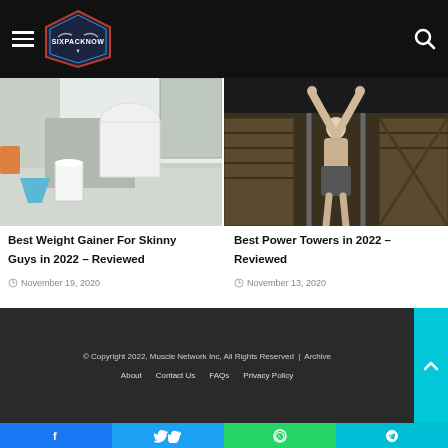SixPackNow - Navigation Header
[Figure (photo): Person mixing protein shake in kitchen, shirtless, holding a large white protein container over a glass of milk, blue funnel on table]
Best Weight Gainer For Skinny Guys in 2022 – Reviewed
November 19, 2020
[Figure (photo): Shirtless muscular man performing pull-ups or hanging exercise on a power tower in a dark industrial warehouse setting with wooden pallets in background]
Best Power Towers in 2022 – Reviewed
November 13, 2020
© Copyright 2022, Muscle Network Inc, All Rights Reserved | Archive
About   Contact Us   FAQs   Privacy Policy